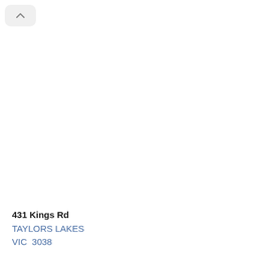[Figure (screenshot): Close/collapse button with an upward chevron (^) icon, styled as a rounded rectangle button in light gray]
431 Kings Rd
TAYLORS LAKES
VIC  3038